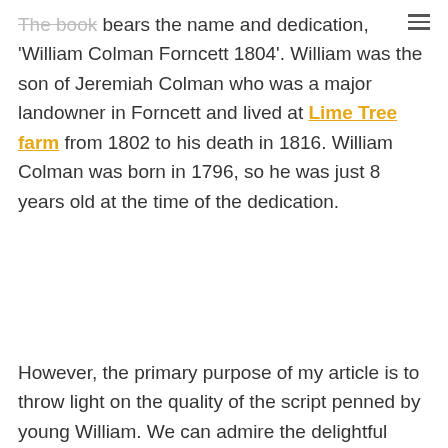The book bears the name and dedication, 'William Colman Forncett 1804'. William was the son of Jeremiah Colman who was a major landowner in Forncett and lived at Lime Tree farm from 1802 to his death in 1816. William Colman was born in 1796, so he was just 8 years old at the time of the dedication.
However, the primary purpose of my article is to throw light on the quality of the script penned by young William. We can admire the delightful flourishes and beautifully executed title,